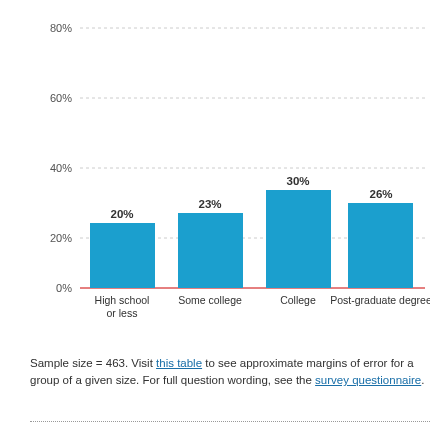[Figure (bar-chart): ]
Sample size = 463. Visit this table to see approximate margins of error for a group of a given size. For full question wording, see the survey questionnaire.